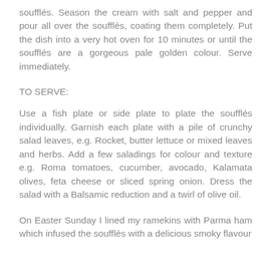soufflés. Season the cream with salt and pepper and pour all over the soufflés, coating them completely. Put the dish into a very hot oven for 10 minutes or until the soufflés are a gorgeous pale golden colour. Serve immediately.
TO SERVE:
Use a fish plate or side plate to plate the soufflés individually. Garnish each plate with a pile of crunchy salad leaves, e.g. Rocket, butter lettuce or mixed leaves and herbs. Add a few saladings for colour and texture e.g. Roma tomatoes, cucumber, avocado, Kalamata olives, feta cheese or sliced spring onion. Dress the salad with a Balsamic reduction and a twirl of olive oil.
On Easter Sunday I lined my ramekins with Parma ham which infused the soufflés with a delicious smoky flavour